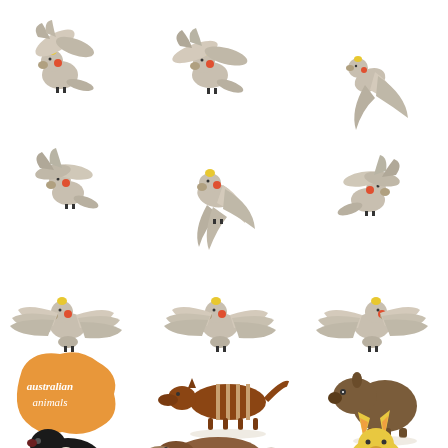[Figure (illustration): Animation sprite sheet showing a cockatoo bird in multiple flying poses arranged in a 3x3 grid (top 3 rows), followed by Australian animals illustration set including: an orange Australia map shape with 'Australian animals' text, a numbat (striped marsupial), a wombat, a Tasmanian devil, a platypus, and a wallaby/kangaroo joey (partially visible at bottom).]